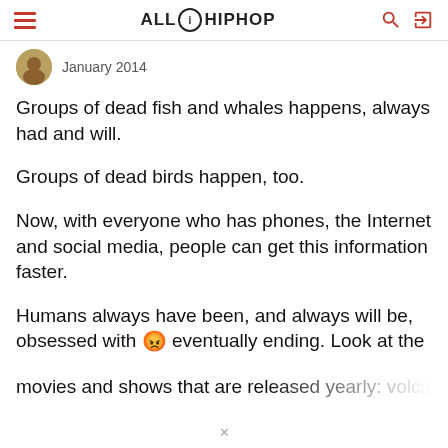ALL HIP HOP
January 2014
Groups of dead fish and whales happens, always had and will.
Groups of dead birds happen, too.
Now, with everyone who has phones, the Internet and social media, people can get this information faster.
Humans always have been, and always will be, obsessed with 😡 eventually ending. Look at the movies and shows that are released yearly: volcanoes